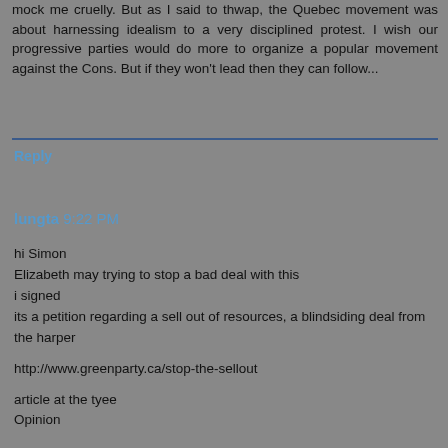mock me cruelly. But as I said to thwap, the Quebec movement was about harnessing idealism to a very disciplined protest. I wish our progressive parties would do more to organize a popular movement against the Cons. But if they won't lead then they can follow...
Reply
lungta 9:22 PM
hi Simon
Elizabeth may trying to stop a bad deal with this
i signed
its a petition regarding a sell out of resources, a blindsiding deal from the harper

http://www.greenparty.ca/stop-the-sellout

article at the tyee
Opinion